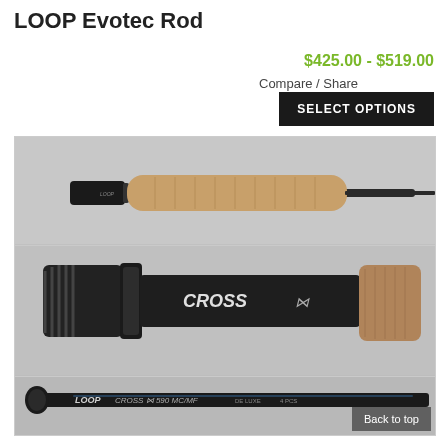LOOP Evotec Rod
$425.00 - $519.00
Compare / Share
SELECT OPTIONS
[Figure (photo): Close-up product photos of the LOOP Evotec fly fishing rod showing three angles: the cork grip and reel seat from the side, a close-up of the reel seat labeled 'CROSS' with cork grip end, and a long shot of the rod blank labeled 'LOOP CROSS 590 MC/MF']
Back to top